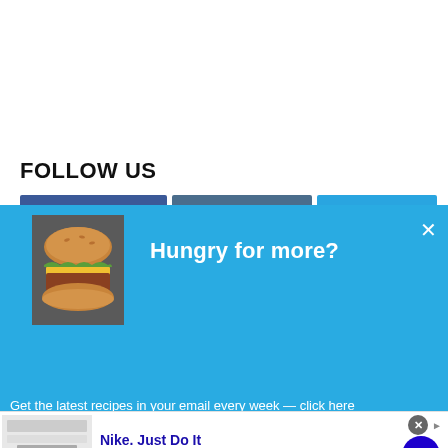FOLLOW US
[Figure (screenshot): Blue popup overlay with burger image and text 'Hungry for more?' with close X button]
Hungry for more?
Get the latest recipes in your email every week — click here
[Figure (infographic): Nike advertisement: 'Nike. Just Do It' — Inspiring the world's athletes, Nike delivers the deals. www.nike.com with arrow button and thumbnail]